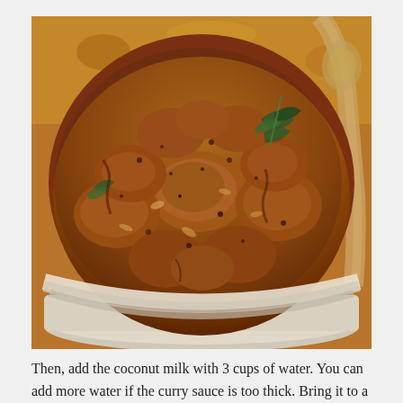[Figure (photo): Close-up photo of a spiced chicken curry dish with dark reddish-brown sauce, herbs including curry leaves, and a wooden spoon, served in a white bowl]
Then, add the coconut milk with 3 cups of water. You can add more water if the curry sauce is too thick. Bring it to a boil and